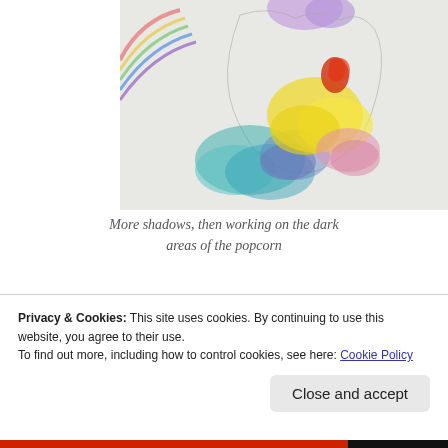[Figure (illustration): A watercolor artwork in progress showing colorful watercolor blobs in teal, yellow, pink, blue, and red on white paper with pencil sketch lines. Colors include rainbow streaks at top left.]
More shadows, then working on the dark areas of the popcorn
But enough of that cowardly stuff! Time to go for it! I returned to the studio and finished the shadows of the glass bowl.
Privacy & Cookies: This site uses cookies. By continuing to use this website, you agree to their use.
To find out more, including how to control cookies, see here: Cookie Policy